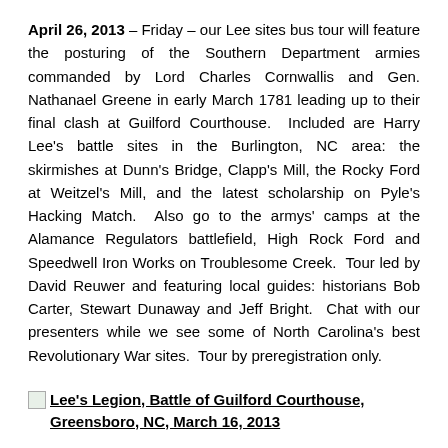April 26, 2013 – Friday – our Lee sites bus tour will feature the posturing of the Southern Department armies commanded by Lord Charles Cornwallis and Gen. Nathanael Greene in early March 1781 leading up to their final clash at Guilford Courthouse. Included are Harry Lee's battle sites in the Burlington, NC area: the skirmishes at Dunn's Bridge, Clapp's Mill, the Rocky Ford at Weitzel's Mill, and the latest scholarship on Pyle's Hacking Match. Also go to the armys' camps at the Alamance Regulators battlefield, High Rock Ford and Speedwell Iron Works on Troublesome Creek. Tour led by David Reuwer and featuring local guides: historians Bob Carter, Stewart Dunaway and Jeff Bright. Chat with our presenters while we see some of North Carolina's best Revolutionary War sites. Tour by preregistration only.
Lee's Legion, Battle of Guilford Courthouse, Greensboro, NC, March 16, 2013